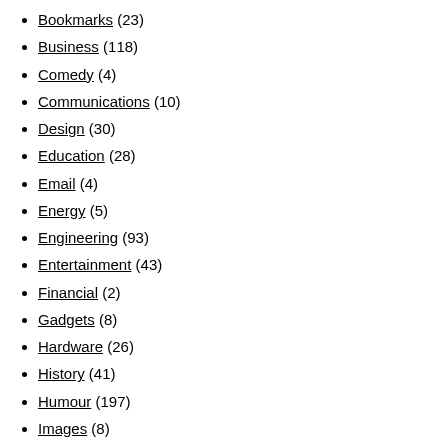Bookmarks (23)
Business (118)
Comedy (4)
Communications (10)
Design (30)
Education (28)
Email (4)
Energy (5)
Engineering (93)
Entertainment (43)
Financial (2)
Gadgets (8)
Hardware (26)
History (41)
Humour (197)
Images (8)
Internet (27)
Motoring (305)
Music (12)